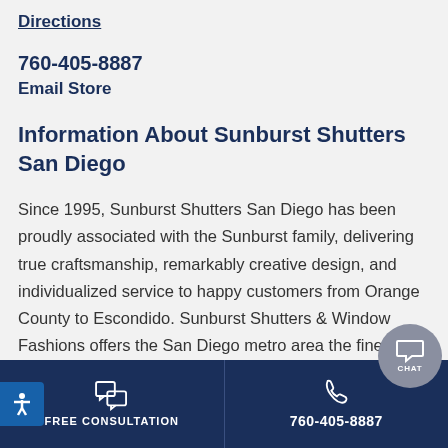Directions
760-405-8887
Email Store
Information About Sunburst Shutters San Diego
Since 1995, Sunburst Shutters San Diego has been proudly associated with the Sunburst family, delivering true craftsmanship, remarkably creative design, and individualized service to happy customers from Orange County to Escondido. Sunburst Shutters & Window Fashions offers the San Diego metro area the finest of energy-efficient, beautiful, and
FREE CONSULTATION   760-405-8887   CHAT